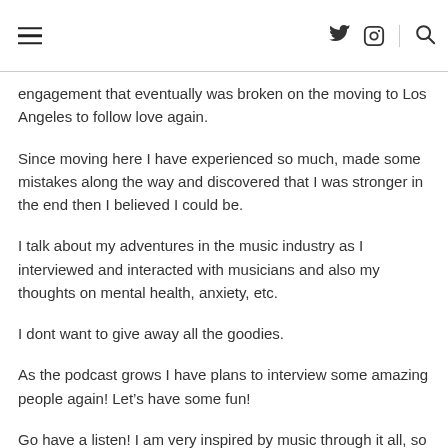[hamburger menu] [twitter icon] [instagram icon] [search icon]
engagement that eventually was broken on the moving to Los Angeles to follow love again.
Since moving here I have experienced so much, made some mistakes along the way and discovered that I was stronger in the end then I believed I could be.
I talk about my adventures in the music industry as I interviewed and interacted with musicians and also my thoughts on mental health, anxiety, etc.
I dont want to give away all the goodies.
As the podcast grows I have plans to interview some amazing people again! Let’s have some fun!
Go have a listen! I am very inspired by music through it all, so I have included a playlist that will